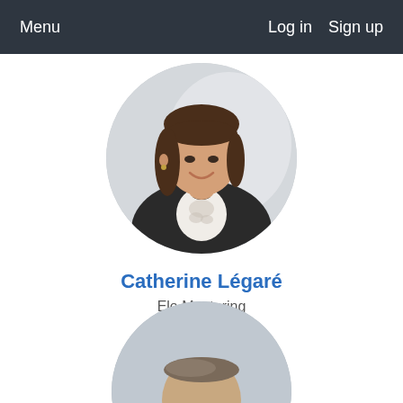Menu   Log in   Sign up
[Figure (photo): Circular profile photo of Catherine Légaré, a woman with dark brown hair and bangs, wearing a black blazer over a patterned top, smiling, on a light grey background.]
Catherine Légaré
Elo Mentoring
Cofounder
[Figure (photo): Circular profile photo of a man with short light brown hair, wearing glasses and a dark suit jacket, partially visible at the bottom of the page.]